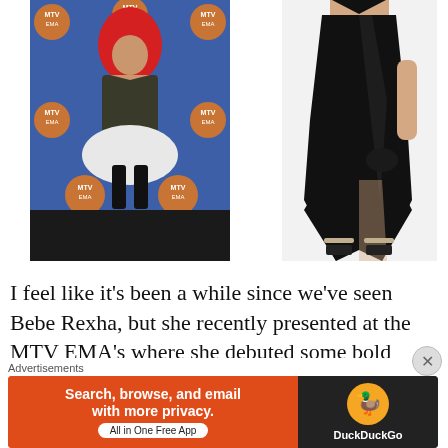[Figure (photo): Left photo: woman with bright red hair wearing a dark lace top with a white puffball skirt and black thigh-high boots, standing in front of an MTV EMA blue backdrop with orange circular logos.]
[Figure (photo): Right photo: product/model shot of a black deep-V halter neck satin dress with a high-low asymmetric hem, shown on a headless model with strappy heeled sandals on a white background.]
I feel like it's been a while since we've seen Bebe Rexha, but she recently presented at the MTV EMA's where she debuted some bold crayola red hair and
Advertisements
[Figure (screenshot): DuckDuckGo advertisement banner: orange left panel with text 'Search, browse, and email with more privacy. All in One Free App', dark right panel with DuckDuckGo duck logo and brand name.]